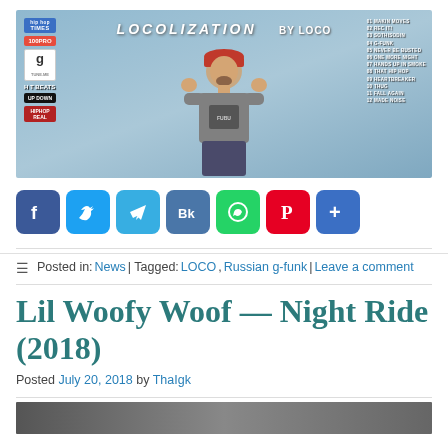[Figure (illustration): Album artwork for 'Locolization by Loco' featuring a cartoon-style illustration of a man in a cap and grey t-shirt making hand gestures, with palm trees in the background, logos on the left side, and a tracklist on the right.]
[Figure (infographic): Social media share buttons: Facebook, Twitter, Telegram, VK, WhatsApp, Pinterest, and a More button.]
Posted in: News | Tagged: LOCO, Russian g-funk | Leave a comment
Lil Woofy Woof — Night Ride (2018)
Posted July 20, 2018 by ThaIgk
[Figure (photo): Partial view of a photo at the bottom of the page, appears to be a dark/night scene.]